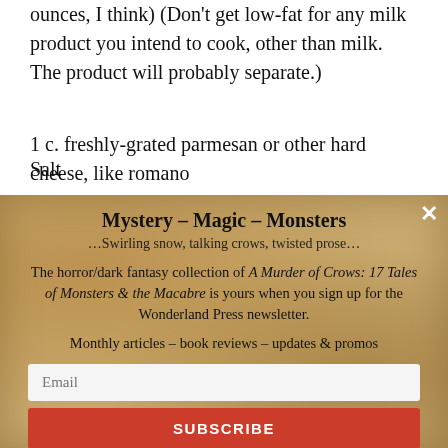ounces, I think) (Don't get low-fat for any milk product you intend to cook, other than milk. The product will probably separate.)
1 c. freshly-grated parmesan or other hard cheese, like romano
Salt
[Figure (other): Newsletter signup overlay with parchment/aged paper texture background. Title: Mystery - Magic - Monsters. Subtitle: ...Swirling snow, talking crows, twisted prose... Body text about horror/dark fantasy collection 'A Murder of Crows: 17 Tales of Monsters & the Macabre'. Email input field and SUBSCRIBE button.]